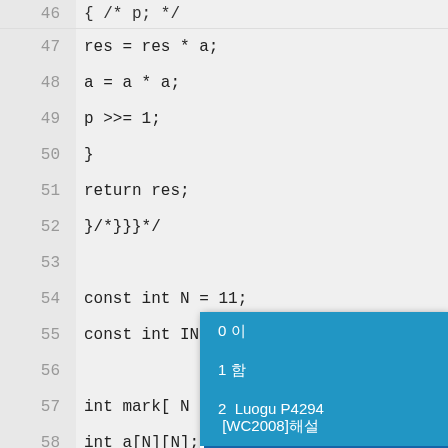Code viewer showing lines 46-65 of a C++ program with a dropdown menu overlay showing options: 0, 1, 2 Luogu P4294 [WC2008], Code
[Figure (screenshot): Code editor view showing C++ source code with line numbers 46-65. Lines visible include: res = res * a; a = a * a; p >>= 1; } return res; }/*}}}*/ const int N = 11; const int INF = 0x3... int mark[ N * N ]; int a[N][N]; int f[ N * N ][ 1 << N ]; std::pair<int, int> la[ N * N ][ 1 << ... int dx[] = { +1, -1, 0, 0 }; int dy[] = { 0, 0, +1, -1 }; int full_now( cint cur_ ) { return 1 <. A blue dropdown overlay appears over lines 53-57 showing options: 0, 1, 2 Luogu P4294 [WC2008], Code.]